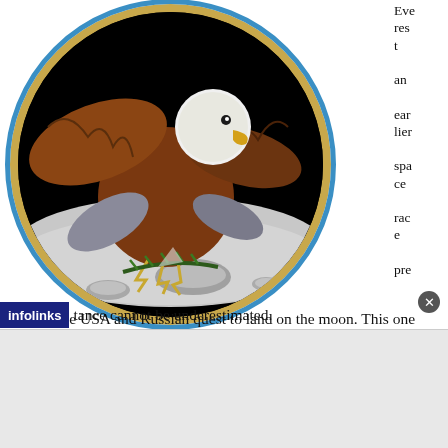[Figure (illustration): A bald eagle standing on the lunar surface, holding a pine branch in its talons, set within a circular medallion with gold and blue border on black background.]
Everest an earlier space race preceding the USA and Russian quest to land on the moon. This one promised as its reward to become immortalized as the first human representing the first nation to stand atop earth's highest point. The competition surrounding the making of that summit in the post World War II climate and its psychological importance cannot be underestimated.
[Figure (screenshot): Infolinks advertisement bar overlay at the bottom of the page with a close button.]